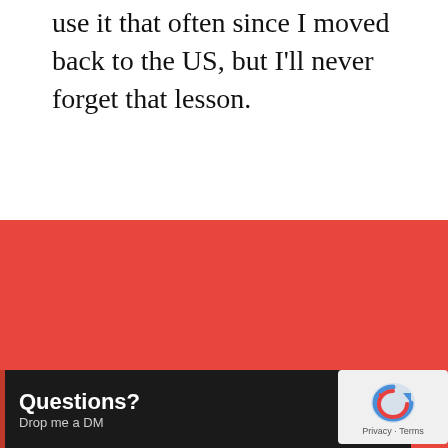use it that often since I moved back to the US, but I'll never forget that lesson.
Search 200 articles and podcasts
Questions? Drop me a DM